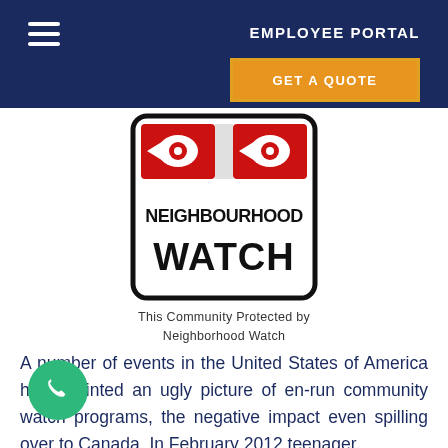EMPLOYEE PORTAL
GET A QUOTE
[Figure (logo): Neighbourhood Watch sign: white rectangular sign with rounded corners and black border, two red rectangular panels each containing a white eye/circle symbol with red pointing arrow, bold black text reading NEIGHBOURHOOD WATCH]
This Community Protected by Neighborhood Watch
A number of events in the United States of America have painted an ugly picture of en-run community watch programs, the negative impact even spilling over to Canada. In February 2012 teenager